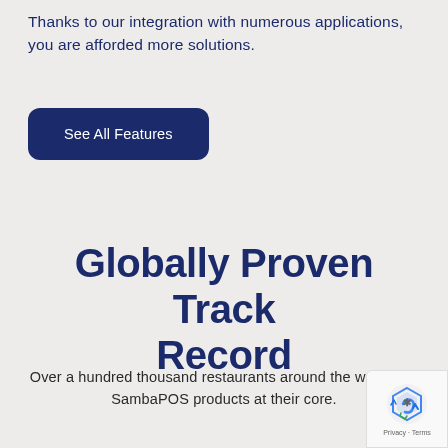Thanks to our integration with numerous applications, you are afforded more solutions.
[Figure (other): Dark navy blue rounded rectangle button labeled 'See All Features']
Globally Proven Track Record
Over a hundred thousand restaurants around the world use SambaPOS products at their core.
[Figure (other): reCAPTCHA badge widget in bottom right corner showing Google reCAPTCHA logo and Privacy · Terms links]